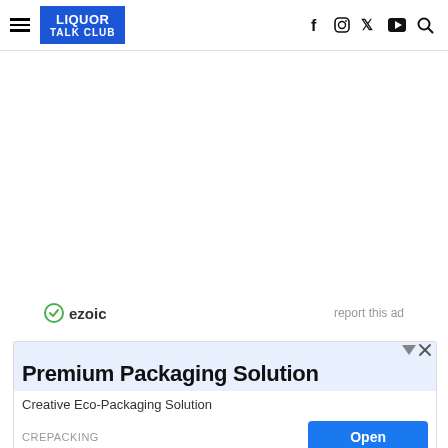LIQUOR TALK CLUB
[Figure (screenshot): Empty white content area with Ezoic ad label showing 'ezoic' branding and 'report this ad' text]
[Figure (screenshot): Advertisement banner for Premium Packaging Solution by CREPACKING with Open button]